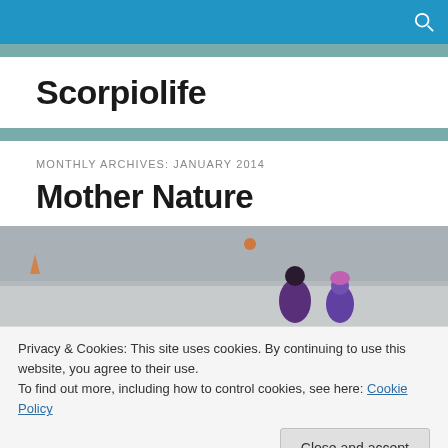Scorpiolife
MONTHLY ARCHIVES: JANUARY 2014
Mother Nature
[Figure (photo): Two people walking in snow/rain, outdoor scene with blurred winter background]
Privacy & Cookies: This site uses cookies. By continuing to use this website, you agree to their use.
To find out more, including how to control cookies, see here: Cookie Policy
[Figure (photo): Bottom partial photo showing snowy ground with footprints]